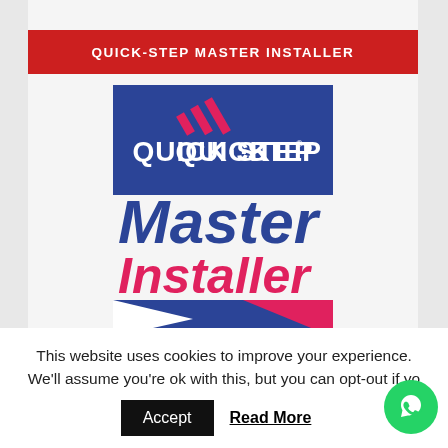QUICK-STEP MASTER INSTALLER
[Figure (logo): Quick-Step Master Installer logo. Blue rectangle with Quick-Step wordmark in white and pink chevron mark above. Below: 'Master' in large dark blue italic text, 'Installer' in large magenta/pink italic text. Bottom: dark blue rectangle with white and pink triangular chevron shapes.]
This website uses cookies to improve your experience. We'll assume you're ok with this, but you can opt-out if you wish.
Accept   Read More